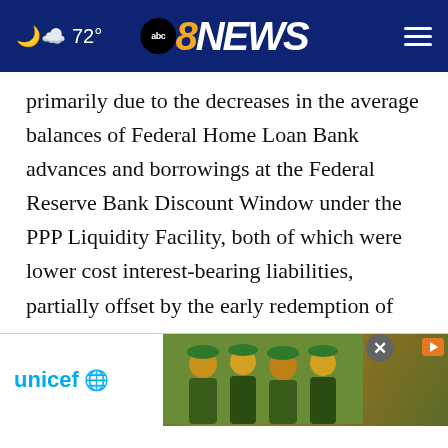72° abc 8NEWS
primarily due to the decreases in the average balances of Federal Home Loan Bank advances and borrowings at the Federal Reserve Bank Discount Window under the PPP Liquidity Facility, both of which were lower cost interest-bearing liabilities, partially offset by the early redemption of subordinated notes payable, which was a higher cost interest-b...
[Figure (screenshot): UNICEF advertisement banner showing unicef logo and smiling children wearing green hats]